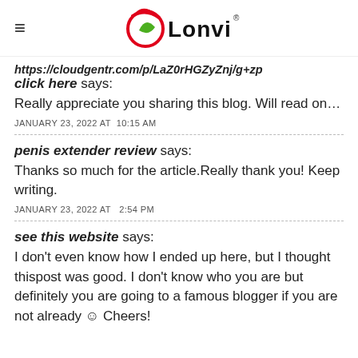Lonvi (logo)
https://cloudgentr.com/p/LaZ0rHGZyZnj/g+zp… click here says:
Really appreciate you sharing this blog. Will read on…
JANUARY 23, 2022 AT 10:15 AM
penis extender review says:
Thanks so much for the article.Really thank you! Keep writing.
JANUARY 23, 2022 AT 2:54 PM
see this website says:
I don't even know how I ended up here, but I thought thispost was good. I don't know who you are but definitely you are going to a famous blogger if you are not already ☺ Cheers!